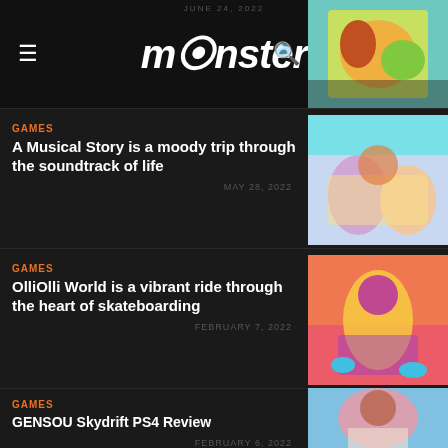monster — JUNE 24, 2022
[Figure (illustration): Colorful animated game artwork in header thumbnail]
GAMES — A Musical Story is a moody trip through the soundtrack of life — MAY 28, 2022
[Figure (illustration): Animated music scene artwork thumbnail]
GAMES — OlliOlli World is a vibrant ride through the heart of skateboarding — FEBRUARY 7, 2022
[Figure (illustration): Skateboarding character artwork thumbnail]
GAMES — GENSOU Skydrift PS4 Review — FEBRUARY 6, 2022
[Figure (illustration): Anime character artwork thumbnail]